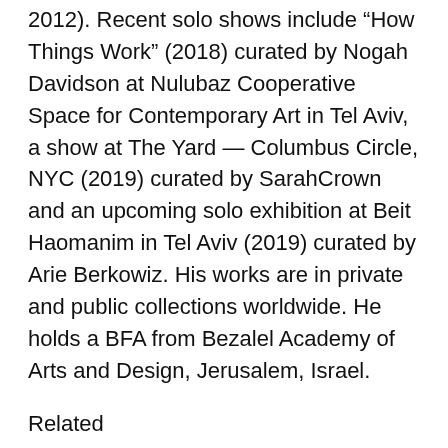2012). Recent solo shows include “How Things Work” (2018) curated by Nogah Davidson at Nulubaz Cooperative Space for Contemporary Art in Tel Aviv, a show at The Yard — Columbus Circle, NYC (2019) curated by SarahCrown and an upcoming solo exhibition at Beit Haomanim in Tel Aviv (2019) curated by Arie Berkowiz. His works are in private and public collections worldwide. He holds a BFA from Bezalel Academy of Arts and Design, Jerusalem, Israel.
Related